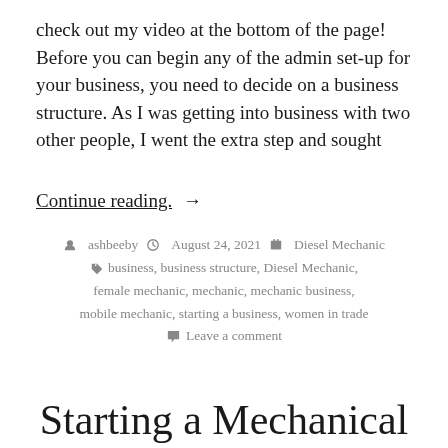check out my video at the bottom of the page! Before you can begin any of the admin set-up for your business, you need to decide on a business structure. As I was getting into business with two other people, I went the extra step and sought
Continue reading. →
ashbeeby  August 24, 2021  Diesel Mechanic  business, business structure, Diesel Mechanic, female mechanic, mechanic, mechanic business, mobile mechanic, starting a business, women in trade  Leave a comment
Starting a Mechanical